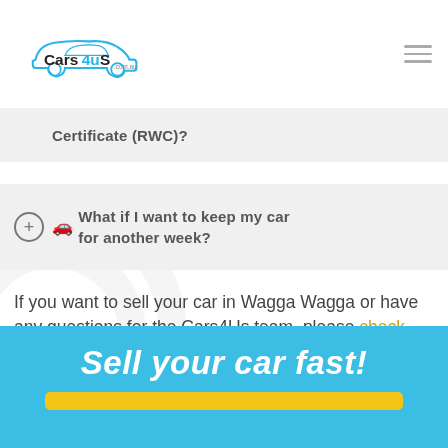[Figure (logo): Cars4uS.com.au logo with car silhouette in blue]
Certificate (RWC)?
🚗 What if I want to keep my car for another week?
If you want to sell your car in Wagga Wagga or have any questions for the Cars4Us team, please check out our FAQs or contact us directly.
Sell your car fast!